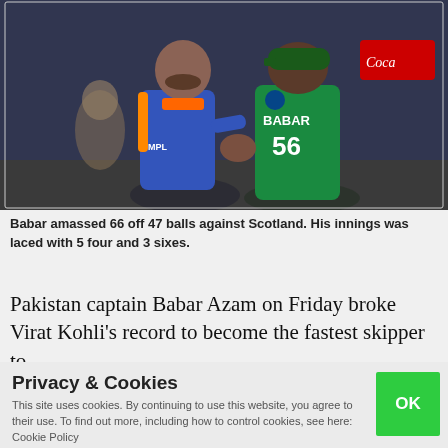[Figure (photo): Two cricket players shaking hands. One in blue India jersey, the other in green Pakistan jersey with 'BABAR 56' on back. Coca-Cola signage visible in background.]
Babar amassed 66 off 47 balls against Scotland. His innings was laced with 5 four and 3 sixes.
Pakistan captain Babar Azam on Friday broke Virat Kohli's record to become the fastest skipper to
Privacy & Cookies
This site uses cookies. By continuing to use this website, you agree to their use. To find out more, including how to control cookies, see here: Cookie Policy